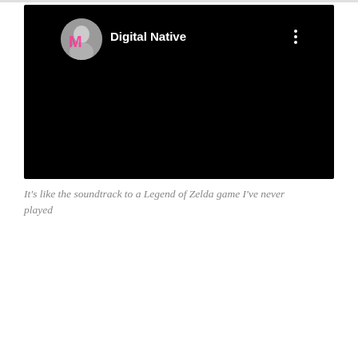[Figure (screenshot): Embedded YouTube/video player screenshot with black background showing a channel named 'Digital Native' with a circular avatar photo of a person with pink bow graphic overlay, and a three-dot menu icon in the top right corner.]
It's like the soundtrack to a Legend of Zelda game I've never played
PREVIOUS ← I'm Learnding!